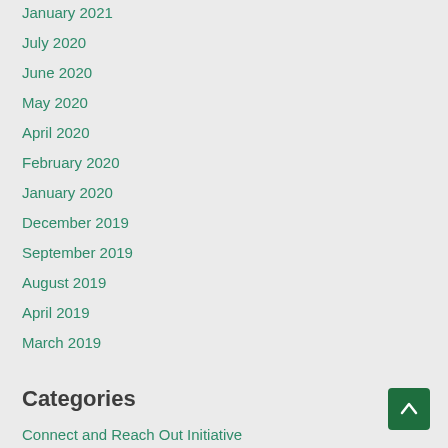January 2021
July 2020
June 2020
May 2020
April 2020
February 2020
January 2020
December 2019
September 2019
August 2019
April 2019
March 2019
Categories
Connect and Reach Out Initiative